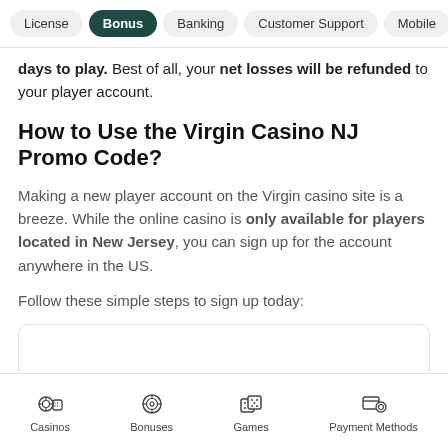License | Bonus | Banking | Customer Support | Mobile
days to play. Best of all, your net losses will be refunded to your player account.
How to Use the Virgin Casino NJ Promo Code?
Making a new player account on the Virgin casino site is a breeze. While the online casino is only available for players located in New Jersey, you can sign up for the account anywhere in the US.
Follow these simple steps to sign up today:
Casinos | Bonuses | Games | Payment Methods